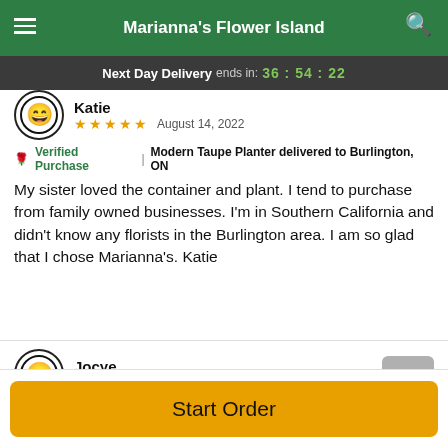Marianna's Flower Island
Next Day Delivery ends in: 36 : 54 : 22
Katie  ★★★★★  August 14, 2022
🌹 Verified Purchase | Modern Taupe Planter delivered to Burlington, ON
My sister loved the container and plant. I tend to purchase from family owned businesses. I'm in Southern California and didn't know any florists in the Burlington area. I am so glad that I chose Marianna's. Katie
Jocye  ★★★★★  August 13, 2022
Start Order